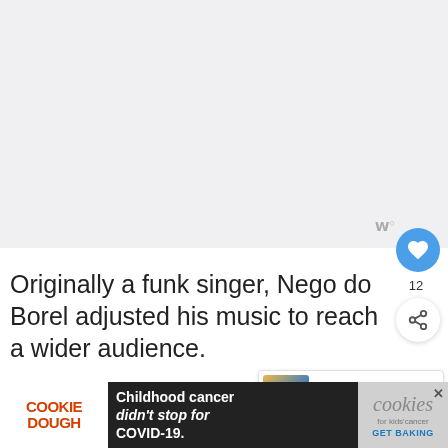[Figure (photo): Large image placeholder area (video/photo content, light gray background)]
Originally a funk singer, Nego do Borel adjusted his music to reach a wider audience.
His efforts were a success, as one can
[Figure (infographic): WHAT'S NEXT banner with thumbnail: The 15 Most Famous...]
[Figure (infographic): Ad banner: COOKIE DOUGH - Childhood cancer didn't stop for COVID-19. cookies for kids cancer GET BAKING. With close button X.]